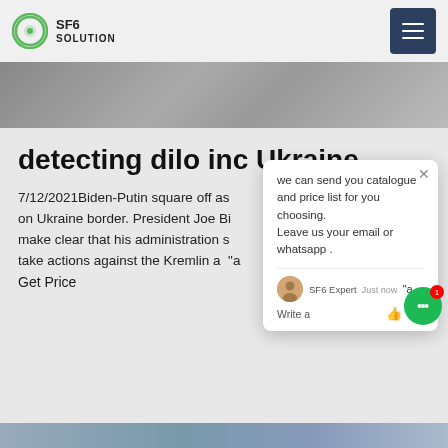SF6 SOLUTION
[Figure (photo): Partial top image strip showing equipment/decorative background]
detecting dilo inc Ukraine
7/12/2021Biden-Putin square off as s on Ukraine border. President Joe Bi make clear that his administration s take actions against the Kremlin a "a Get Price
[Figure (screenshot): Chat popup overlay with SF6 Expert message: we can send you catalogue and price list for you choosing. Leave us your email or whatsapp .]
[Figure (photo): Bottom partial image strip showing industrial/electrical equipment]